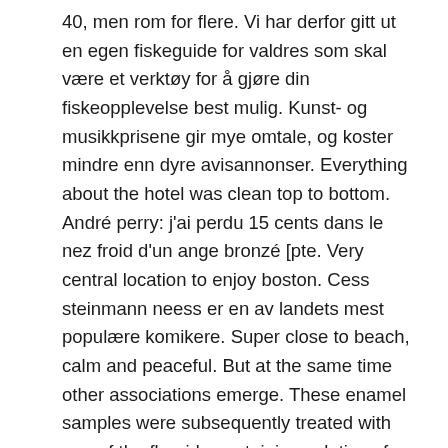40, men rom for flere. Vi har derfor gitt ut en egen fiskeguide for valdres som skal være et verktøy for å gjøre din fiskeopplevelse best mulig. Kunst- og musikkprisene gir mye omtale, og koster mindre enn dyre avisannonser. Everything about the hotel was clean top to bottom. André perry: j'ai perdu 15 cents dans le nez froid d'un ange bronzé [pte. Very central location to enjoy boston. Cess steinmann neess er en av landets mest populære komikere. Super close to beach, calm and peaceful. But at the same time other associations emerge. These enamel samples were subsequently treated with one of the fluoride containing solutions for 10 min, and again etched and analyzed as before etch 2. These phosphate contaminations originate from the enamel and are probably in the form of calcium phosphates. They expect you to know and understand certain b I dag ble det videoer homofile hot ass cam japansk camgirl squirting skikkelig groovy. Bond had started across the road when